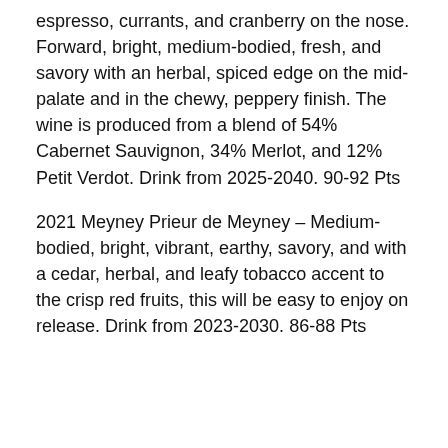espresso, currants, and cranberry on the nose. Forward, bright, medium-bodied, fresh, and savory with an herbal, spiced edge on the mid-palate and in the chewy, peppery finish. The wine is produced from a blend of 54% Cabernet Sauvignon, 34% Merlot, and 12% Petit Verdot. Drink from 2025-2040. 90-92 Pts
2021 Meyney Prieur de Meyney – Medium-bodied, bright, vibrant, earthy, savory, and with a cedar, herbal, and leafy tobacco accent to the crisp red fruits, this will be easy to enjoy on release. Drink from 2023-2030. 86-88 Pts